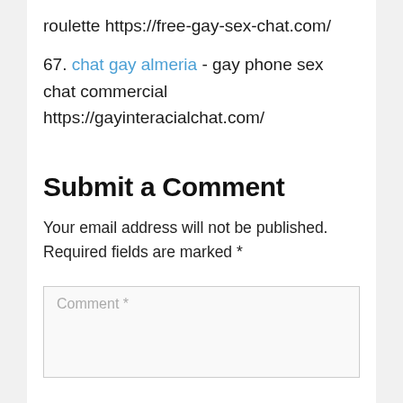roulette https://free-gay-sex-chat.com/
67. chat gay almeria - gay phone sex chat commercial https://gayinteracialchat.com/
Submit a Comment
Your email address will not be published. Required fields are marked *
Comment *